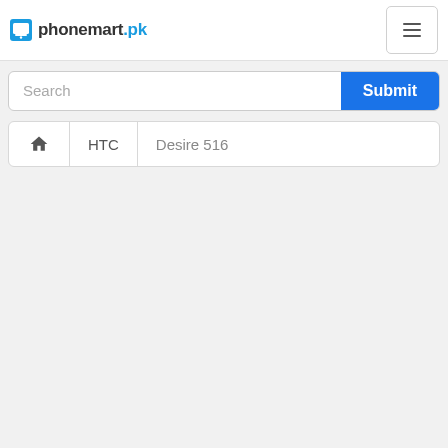phonemart.pk
Search
Submit
HTC
Desire 516